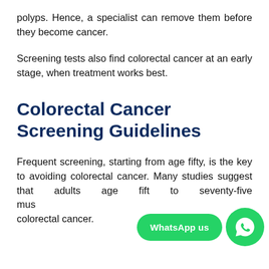polyps. Hence, a specialist can remove them before they become cancer.
Screening tests also find colorectal cancer at an early stage, when treatment works best.
Colorectal Cancer Screening Guidelines
Frequent screening, starting from age fifty, is the key to avoiding colorectal cancer. Many studies suggest that adults age fifty to seventy-five must screen for colorectal cancer.